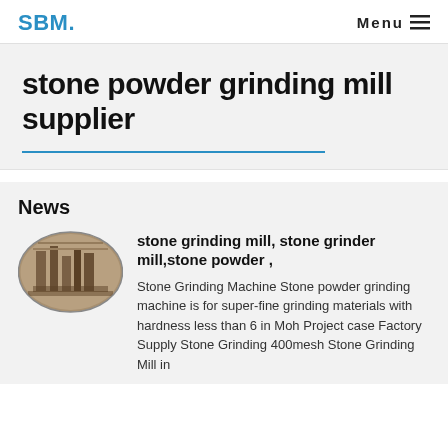SBM.  Menu
stone powder grinding mill supplier
News
[Figure (photo): Oval-shaped thumbnail photo of a stone grinding mill factory interior showing industrial grinding equipment]
stone grinding mill, stone grinder mill,stone powder ,
Stone Grinding Machine Stone powder grinding machine is for super-fine grinding materials with hardness less than 6 in Moh Project case Factory Supply Stone Grinding 400mesh Stone Grinding Mill in